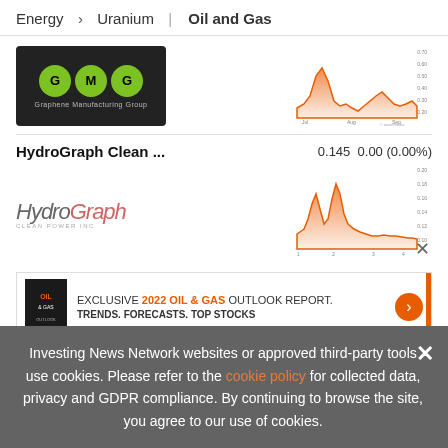Energy > Uranium | Oil and Gas
[Figure (logo): GMG - Graphene Manufacturing Group logo, black background with three green circles containing letters G, M, G]
[Figure (continuous-plot): Stock price chart for GMG showing orange/red area chart over time period around August]
HydroGraph Clean ...
0.145  0.00 (0.00%)
[Figure (logo): HydroGraph Clean Power Inc logo in grey italic text]
[Figure (continuous-plot): Stock price chart for HydroGraph showing orange/red area chart with peaks, y-axis ranging approximately 0.10 to 0.20]
[Figure (infographic): Advertisement banner: EXCLUSIVE 2022 OIL & GAS OUTLOOK REPORT. TRENDS. FORECASTS. TOP STOCKS. With orange arrow button and orange vertical bar on right.]
Nano One materials  3.37 0.22 (2.13%)
Investing News Network websites or approved third-party tools use cookies. Please refer to the cookie policy for collected data, privacy and GDPR compliance. By continuing to browse the site, you agree to our use of cookies.